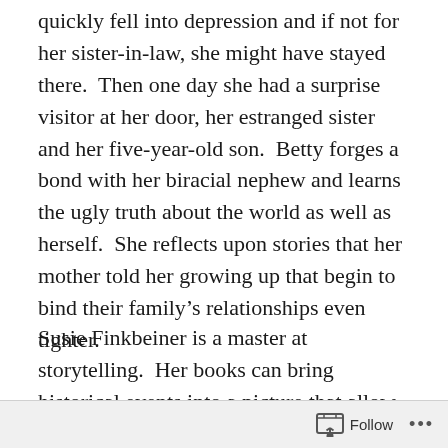quickly fell into depression and if not for her sister-in-law, she might have stayed there.  Then one day she had a surprise visitor at her door, her estranged sister and her five-year-old son.  Betty forges a bond with her biracial nephew and learns the ugly truth about the world as well as herself.  She reflects upon stories that her mother told her growing up that begin to bind their family's relationships even tighter.
Susie Finkbeiner is a master at storytelling.  Her books can bring historical events into a picture that allow readers to see what happened in a new light.  From the dust bowl to the Vietnam War to the Civil Rights movement, she doesn't capture the high points of the era and press on.  What she captures is so much more beautiful and crucial to our understanding of the times.  She captures everyday
Follow ···